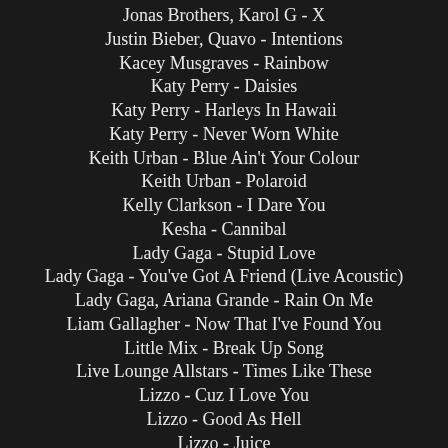Jonas Brothers, Karol G - X
Justin Bieber, Quavo - Intentions
Kacey Musgraves - Rainbow
Katy Perry - Daisies
Katy Perry - Harleys In Hawaii
Katy Perry - Never Worn White
Keith Urban - Blue Ain't Your Colour
Keith Urban - Polaroid
Kelly Clarkson - I Dare You
Kesha - Cannibal
Lady Gaga - Stupid Love
Lady Gaga - You've Got A Friend (Live Acoustic)
Lady Gaga, Ariana Grande - Rain On Me
Liam Gallagher - Now That I've Found You
Little Mix - Break Up Song
Live Lounge Allstars - Times Like These
Lizzo - Cuz I Love You
Lizzo - Good As Hell
Lizzo - Juice
Lizzo, Ariana Grande - Good As Hell (Remix)
Lobo - How Can I Tell Her
Mabel - Loneliest Time Of Year